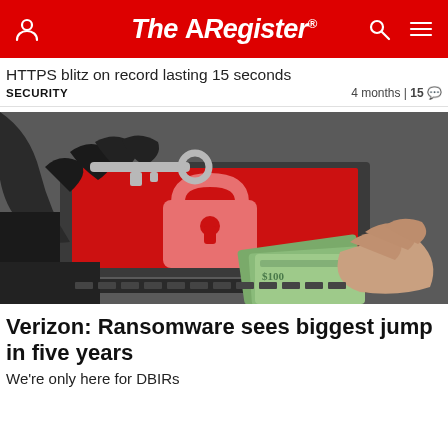The Register
HTTPS blitz on record lasting 15 seconds
SECURITY   4 months | 15
[Figure (photo): A gloved hand holding a key in front of a laptop screen displaying a red ransomware lock symbol, while another hand holds out cash money.]
Verizon: Ransomware sees biggest jump in five years
We're only here for DBIRs